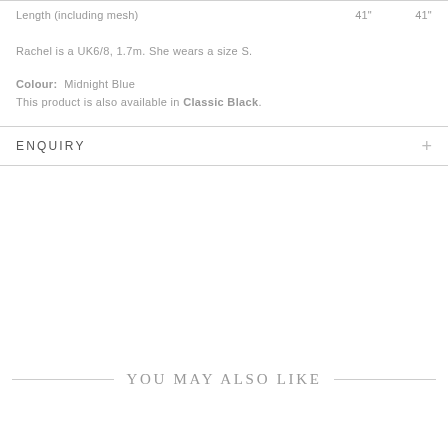|  |  |  |
| --- | --- | --- |
| Length (including mesh) | 41" | 41" |
Rachel is a UK6/8, 1.7m. She wears a size S.
Colour: Midnight Blue
This product is also available in Classic Black.
ENQUIRY
YOU MAY ALSO LIKE